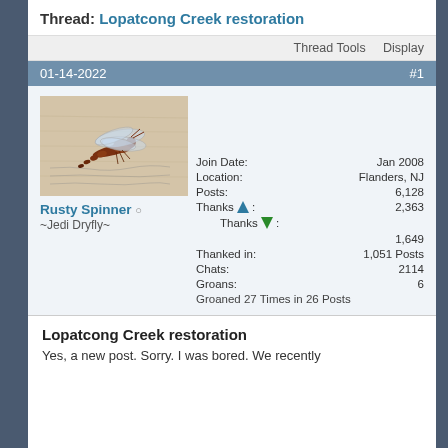Thread: Lopatcong Creek restoration
Thread Tools   Display
01-14-2022   #1
[Figure (photo): Close-up photo of a dragonfly or damselfly resting on a surface with handwritten text in background]
Rusty Spinner
~Jedi Dryfly~
| Field | Value |
| --- | --- |
| Join Date: | Jan 2008 |
| Location: | Flanders, NJ |
| Posts: | 6,128 |
| Thanks ↑: | 2,363 |
| Thanks ↓: | 1,649 |
| Thanked in: | 1,051 Posts |
| Chats: | 2114 |
| Groans: | 6 |
| Groaned 27 Times in 26 Posts |  |
Lopatcong Creek restoration
Yes, a new post. Sorry. I was bored. We recently